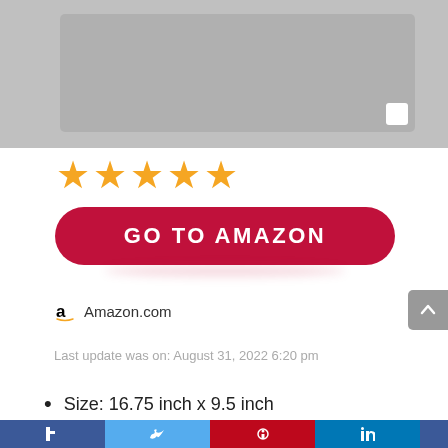[Figure (photo): Product photo of a grey cutting board or flat rectangular item on a grey background]
[Figure (other): Five orange star rating icons in a row]
[Figure (other): Red pill-shaped button with white bold text: GO TO AMAZON]
Amazon.com
Last update was on: August 31, 2022 6:20 pm
Size: 16.75 inch x 9.5 inch
[Figure (other): Social media sharing bar at the bottom with Facebook, Twitter, Pinterest, LinkedIn icons]